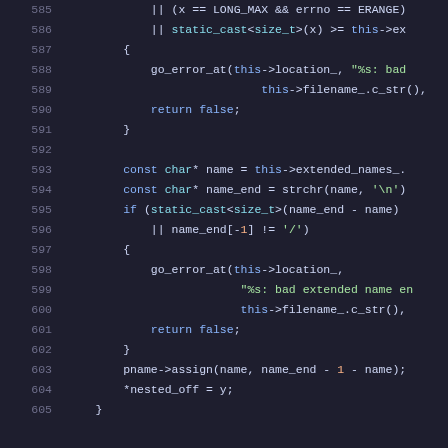[Figure (screenshot): C++ source code snippet showing lines 585-605 with syntax highlighting on a dark background. Code involves error checking for LONG_MAX, errno, ERANGE, static_cast<size_t>, go_error_at, return false, const char* name operations with strchr, name_end, and pname->assign.]